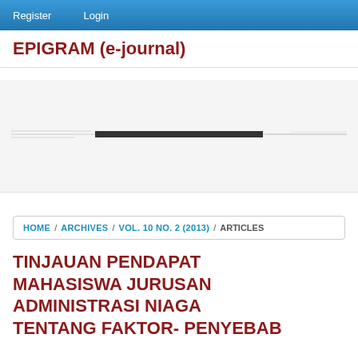Register   Login
EPIGRAM (e-journal)
[Figure (other): Horizontal banner image strip with faint horizontal lines and a dark central bar element]
HOME / ARCHIVES / VOL. 10 NO. 2 (2013) / ARTICLES
TINJAUAN PENDAPAT MAHASISWA JURUSAN ADMINISTRASI NIAGA TENTANG FAKTOR- PENYEBAB